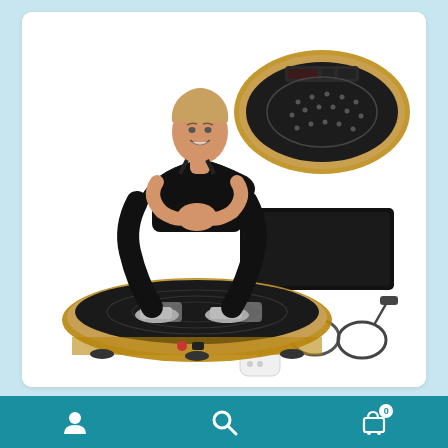[Figure (photo): Product photo of EILISON FitPro Vibration Plate Exercise Machine showing a woman in squat position standing on the rose-gold vibration plate, alongside top-down view of the plate, a black exercise mat, a remote control, and two resistance bands.]
EILISON FitPro Vibration Plate Exercise Machine – 3D